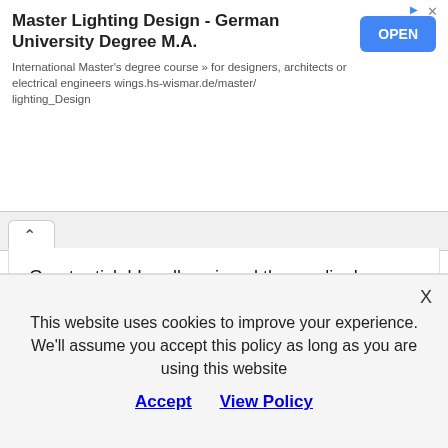[Figure (screenshot): Advertisement banner for Master Lighting Design - German University Degree M.A. with an OPEN button]
Great article! I really enjoyed the reading!

Awesome list of micro niches, thank you! I always thought that micro niche is more targeted. Anyway, I was looking for building my second website around a micro niche and I didn't know what to
This website uses cookies to improve your experience. We'll assume you accept this policy as long as you are using this website
Accept   View Policy